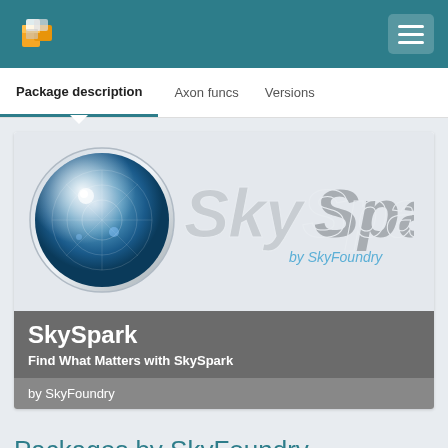[Figure (logo): SkySpark by SkyFoundry logo with radar/globe icon and stylized text]
Package description	Axon funcs	Versions
SkySpark
Find What Matters with SkySpark
by SkyFoundry
Packages by SkyFoundry